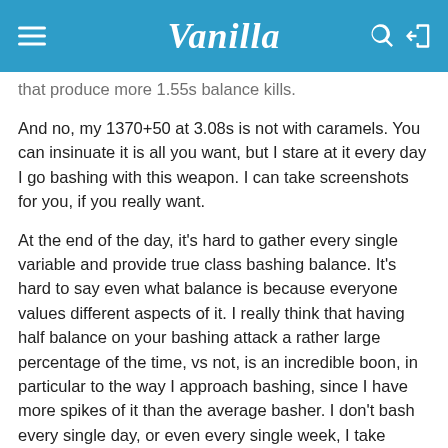Vanilla
that produce more 1.55s balance kills.
And no, my 1370+50 at 3.08s is not with caramels. You can insinuate it is all you want, but I stare at it every day I go bashing with this weapon. I can take screenshots for you, if you really want.
At the end of the day, it's hard to gather every single variable and provide true class bashing balance. It's hard to say even what balance is because everyone values different aspects of it. I really think that having half balance on your bashing attack a rather large percentage of the time, vs not, is an incredible boon, in particular to the way I approach bashing, since I have more spikes of it than the average basher. I don't bash every single day, or even every single week, I take particular days to do it for long periods of time to maximize my time I'm able to, so killing things faster is more important to me.
I guess what I'm trying to say is that everyone is right in their own way, and maybe I should just buy polymath and accept